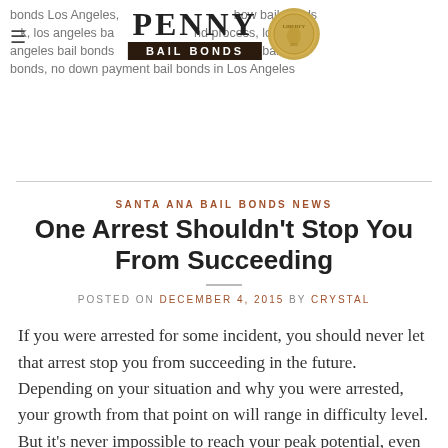bonds Los Angeles, how bail bonds work, los angeles bail bond process, los angeles bail bonds, Los Angeles to bail bonds, no down payment bail bonds in Los Angeles
[Figure (logo): Penny Bail Bonds logo with coin image and hamburger menu icon]
SANTA ANA BAIL BONDS NEWS
One Arrest Shouldn't Stop You From Succeeding
POSTED ON DECEMBER 4, 2015 BY CRYSTAL
If you were arrested for some incident, you should never let that arrest stop you from succeeding in the future. Depending on your situation and why you were arrested, your growth from that point on will range in difficulty level. But it's never impossible to reach your peak potential, even with an arrest on your [...]